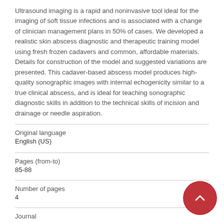Ultrasound imaging is a rapid and noninvasive tool ideal for the imaging of soft tissue infections and is associated with a change of clinician management plans in 50% of cases. We developed a realistic skin abscess diagnostic and therapeutic training model using fresh frozen cadavers and common, affordable materials. Details for construction of the model and suggested variations are presented. This cadaver-based abscess model produces high-quality sonographic images with internal echogenicity similar to a true clinical abscess, and is ideal for teaching sonographic diagnostic skills in addition to the technical skills of incision and drainage or needle aspiration.
| Original language |  |
| English (US) |  |
| Pages (from-to) |  |
| 85-88 |  |
| Number of pages |  |
| 4 |  |
| Journal |  |